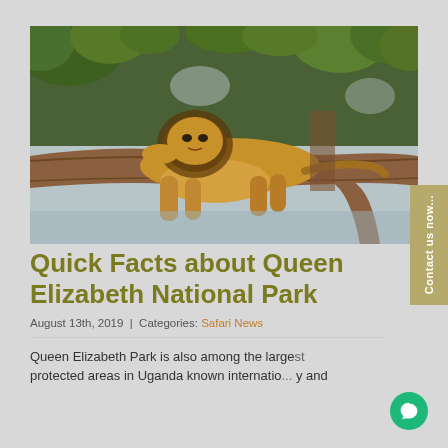[Figure (photo): A lion resting on a large tree branch in the wild, with green tree canopy in the background and light sky visible. The lion is draped over the branch with legs hanging down.]
Quick Facts about Queen Elizabeth National Park
August 13th, 2019  |  Categories: Safari News
Queen Elizabeth Park is also among the largest protected areas in Uganda known internatio... y and